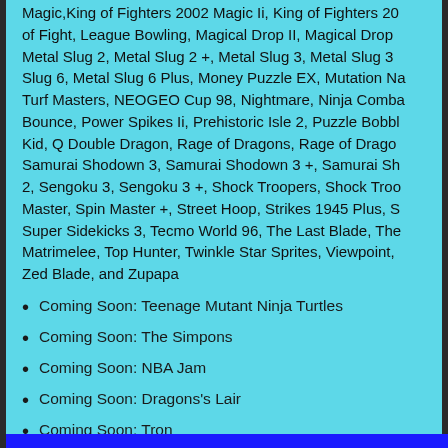Magic,King of Fighters 2002 Magic Ii, King of Fighters 20 of Fight, League Bowling, Magical Drop II, Magical Drop Metal Slug 2, Metal Slug 2 +, Metal Slug 3, Metal Slug 3 Slug 6, Metal Slug 6 Plus, Money Puzzle EX, Mutation Na Turf Masters, NEOGEO Cup 98, Nightmare, Ninja Comba Bounce, Power Spikes Ii, Prehistoric Isle 2, Puzzle Bobbl Kid, Q Double Dragon, Rage of Dragons, Rage of Drago Samurai Shodown 3, Samurai Shodown 3 +, Samurai Sh 2, Sengoku 3, Sengoku 3 +, Shock Troopers, Shock Troo Master, Spin Master +, Street Hoop, Strikes 1945 Plus, S Super Sidekicks 3, Tecmo World 96, The Last Blade, The Matrimelee, Top Hunter, Twinkle Star Sprites, Viewpoint, Zed Blade, and Zupapa
Coming Soon: Teenage Mutant Ninja Turtles
Coming Soon: The Simpons
Coming Soon: NBA Jam
Coming Soon: Dragons's Lair
Coming Soon: Tron
Looking for something else special? Send us an email with your a